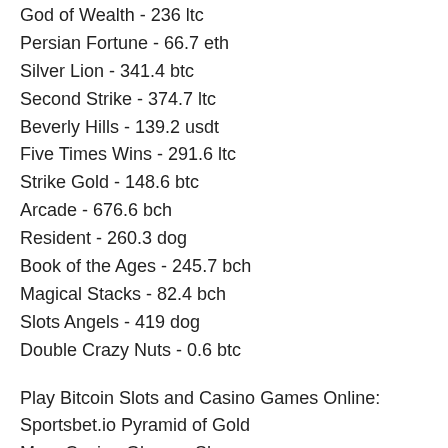God of Wealth - 236 ltc
Persian Fortune - 66.7 eth
Silver Lion - 341.4 btc
Second Strike - 374.7 ltc
Beverly Hills - 139.2 usdt
Five Times Wins - 291.6 ltc
Strike Gold - 148.6 btc
Arcade - 676.6 bch
Resident - 260.3 dog
Book of the Ages - 245.7 bch
Magical Stacks - 82.4 bch
Slots Angels - 419 dog
Double Crazy Nuts - 0.6 btc
Play Bitcoin Slots and Casino Games Online:
Sportsbet.io Pyramid of Gold
Mars Casino Glam or Sham
Betcoin.ag Casino Horror Castle
Bspin.io Casino Phoenix
Betcoin.ag Casino Cave